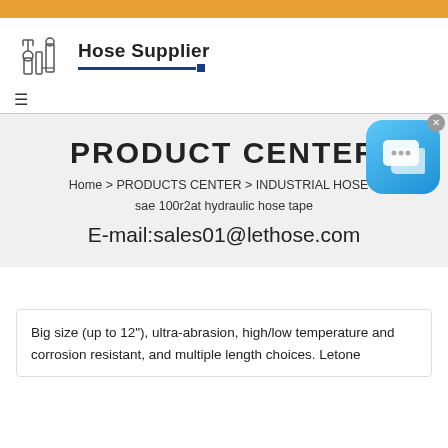[Figure (logo): Hose Supplier logo with industrial machinery icon and text 'Hose Supplier' with blue underline]
PRODUCT CENTER
Home > PRODUCTS CENTER > INDUSTRIAL HOSE > sae 100r2at hydraulic hose tape
E-mail:sales01@lethose.com
Big size (up to 12"), ultra-abrasion, high/low temperature and corrosion resistant, and multiple length choices. Letone